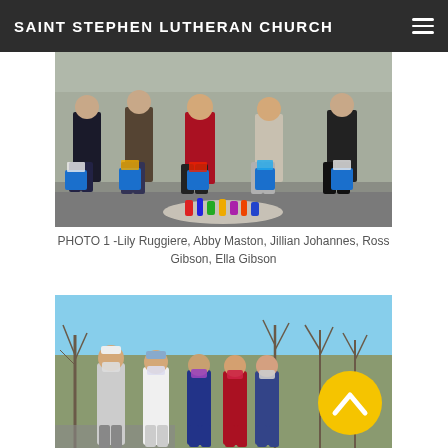SAINT STEPHEN LUTHERAN CHURCH
[Figure (photo): Group of people standing outdoors holding blue buckets filled with cleaning supplies. Several bottles and spray bottles visible on the ground. Taken on a sunny day in a parking area.]
PHOTO 1 -Lily Ruggiere, Abby Maston, Jillian Johannes, Ross Gibson, Ella Gibson
[Figure (photo): Group of five people standing outdoors wearing masks, in front of bare winter trees and clear blue sky. A yellow back-to-top button is visible overlaid in the lower right area of the image.]